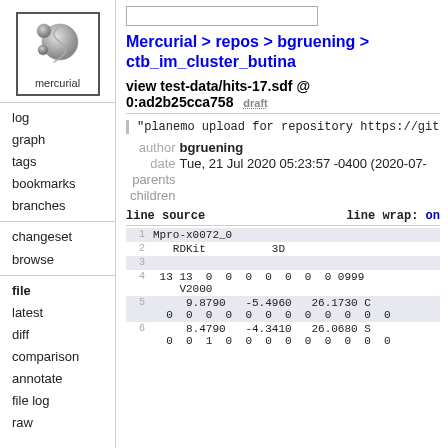[Figure (logo): Mercurial logo: grey yin-yang style spheres with text 'mercurial' below, inside a square border]
log
graph
tags
bookmarks
branches
changeset
browse
file
latest
diff
comparison
annotate
file log
raw
Mercurial > repos > bgruening > ctb_im_cluster_butina
view test-data/hits-17.sdf @ 0:ad2b25cca758  draft
"planemo upload for repository https://git
author bgruening
date Tue, 21 Jul 2020 05:23:57 -0400 (2020-07-
parents
children
line source                          line wrap: on
| line | source |
| --- | --- |
| 1 | Mpro-x0072_0 |
| 2 | RDKit          3D |
| 3 |  |
| 4 | 13 13  0  0  0  0  0  0  0 0999
    V2000 |
| 5 |    9.8790   -5.4960   26.1730 C
 0  0  0  0  0  0  0  0  0  0  0  0 |
| 6 |    8.4790   -4.3410   26.0680 S
 0  0  1  0  0  0  0  0  0  0  0  0 |